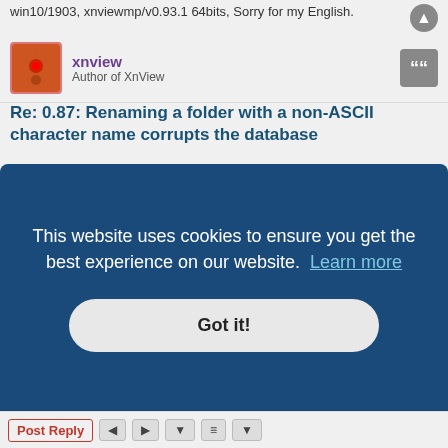win10/1903, xnviewmp/v0.93.1 64bits, Sorry for my English.
xnview
Author of XnView
Re: 0.87: Renaming a folder with a non-ASCII character name corrupts the database
Fri Aug 09, 2019 8:16 am
ele123 wrote: ↑
xnview wrote: ↑
how do you reproduce?
Thank you for your response. This bug may be related to Chinese
em.
This website uses cookies to ensure you get the best experience on our website. Learn more
Got it!
Post Reply